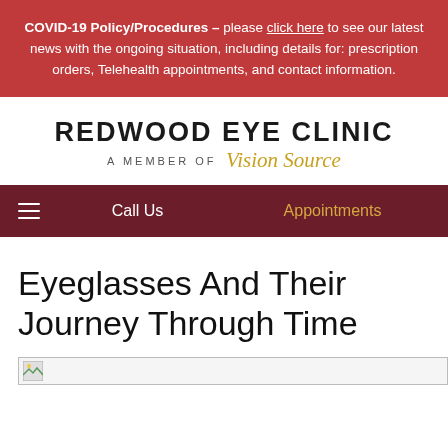COVID-19 Policy/Procedures – please click here to see our latest news with the ongoing situation, including details for: prescription orders, Telehealth appointments, and contact information.
REDWOOD EYE CLINIC A MEMBER OF Vision Source
Call Us   Appointments
Eyeglasses And Their Journey Through Time
[Figure (photo): Partially loaded image placeholder at the bottom of the page]